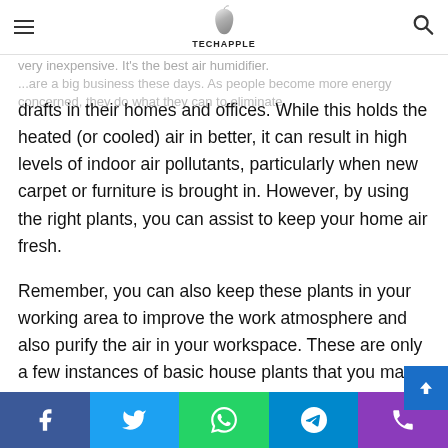TechApple (with Apple logo, hamburger menu, search icon)
very inexpensive. It's the best air humidifier.
...are a big business these days. As people become more energy concerned, they do what they can to eliminate drafts in their homes and offices. While this holds the heated (or cooled) air in better, it can result in high levels of indoor air pollutants, particularly when new carpet or furniture is brought in. However, by using the right plants, you can assist to keep your home air fresh.
Remember, you can also keep these plants in your working area to improve the work atmosphere and also purify the air in your workspace. These are only a few instances of basic house plants that you may check while order plants online which ones to use at home. These inside House Plants will also have the option to flourish well in their necessary
Social share bar: Facebook, Twitter, WhatsApp, Telegram, Phone